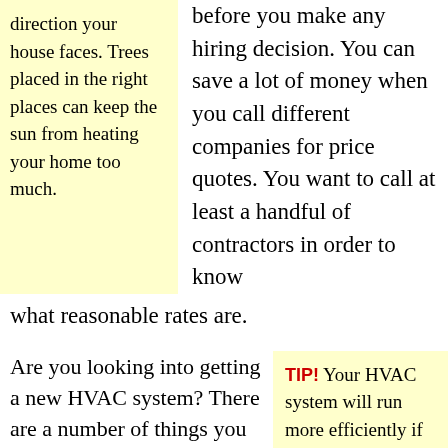determining what direction your house faces. Trees placed in the right places can keep the sun from heating your home too much.
before you make any hiring decision. You can save a lot of money when you call different companies for price quotes. You want to call at least a handful of contractors in order to know what reasonable rates are.
Are you looking into getting a new HVAC system? There are a number of things you should consider. Systems get rated according to the total area they can effectively cool and heat.
TIP! Your HVAC system will run more efficiently if your windows and doors are energy efficient. Make sure seals are tight to avoid exterior